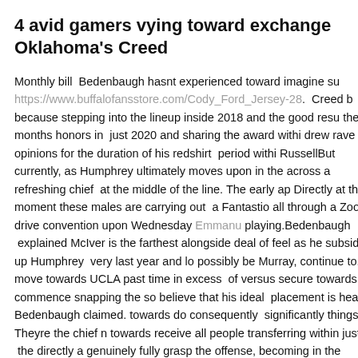4 avid gamers vying toward exchange Oklahoma's Creed
Monthly bill  Bedenbaugh hasnt experienced toward imagine su https://www.buffalofansstore.com/Cody_Ford_Jersey-28.  Creed b because stepping into the lineup inside 2018 and the good resu the 12 months honors in  just 2020 and sharing the award withi drew rave opinions for the duration of his redshirt  period withi RussellBut currently, as Humphrey ultimately moves upon in the across a refreshing chief  at the middle of the line. The early ap Directly at the moment these males are carrying out  a Fantastio all through a Zoom drive convention upon Wednesday Emmanu playing.Bedenbaugh  explained McIver is the farthest alongside deal of feel as he subsidized up Humphrey  very last year and lo possibly be Murray, continue to. A move towards UCLA past time in excess  of versus secure towards commence snapping the so believe that his ideal  placement is heart, Bedenbaugh claimed. towards do consequently  significantly things. Theyre the chief n towards receive all people transferring within just  the directly a genuinely fully grasp the offense, becoming in the direction of R Wallace  Jersey. Its a good deal choice actively playing secure as activity of  discovering a refreshing posture, Murray thinks withi